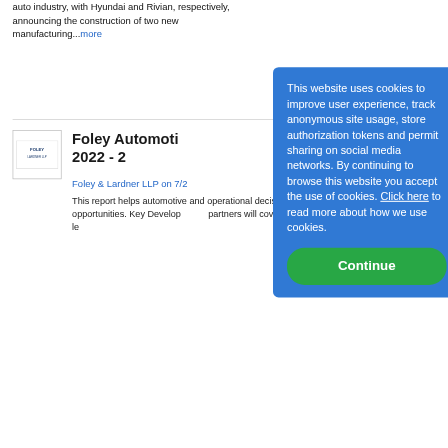auto industry, with Hyundai and Rivian, respectively, announcing the construction of two new manufacturing...more
Foley Automotive 2022 - 2
Foley & Lardner LLP on 7/26...
This report helps automotive and operational decisions to opportunities. Key Developments partners will cover federal le...
7,939 Results
View per page / 25
EXPLORE RELATED TOPICS
This website uses cookies to improve user experience, track anonymous site usage, store authorization tokens and permit sharing on social media networks. By continuing to browse this website you accept the use of cookies. Click here to read more about how we use cookies.
Continue